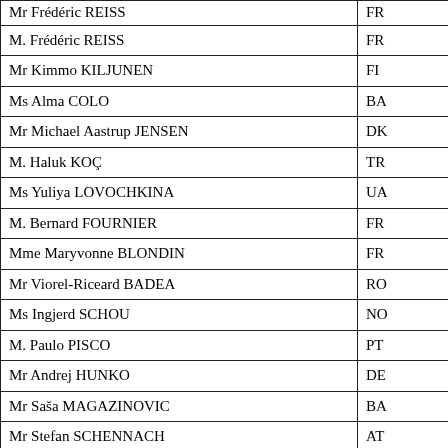| Name | Country |
| --- | --- |
| Mr Frédéric REISS | FR |
| Mr Kimmo KILJUNEN | FI |
| Ms Alma COLO | BA |
| Mr Michael Aastrup JENSEN | DK |
| M. Haluk KOÇ | TR |
| Ms Yuliya LOVOCHKINA | UA |
| M. Bernard FOURNIER | FR |
| Mme Maryvonne BLONDIN | FR |
| Mr Viorel-Riceard BADEA | RO |
| Ms Ingjerd SCHOU | NO |
| M. Paulo PISCO | PT |
| Mr Andrej HUNKO | DE |
| Mr Saša MAGAZINOVIC | BA |
| Mr Stefan SCHENNACH | AT |
| M. Luís LEITE RAMOS | PT |
| Mr Frank SCHWABE | DE |